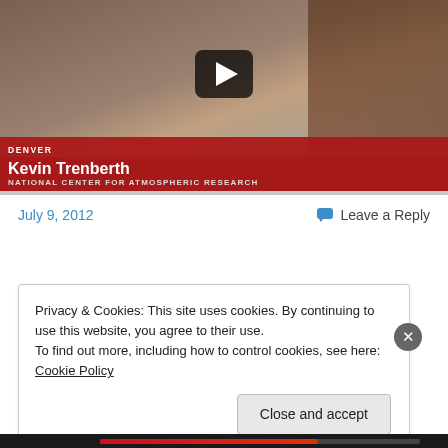[Figure (screenshot): Video thumbnail showing Kevin Trenberth from the National Center for Atmospheric Research, with a play button overlay, Denver chyron, and red name bar.]
July 9, 2012
Leave a Reply
Privacy & Cookies: This site uses cookies. By continuing to use this website, you agree to their use.
To find out more, including how to control cookies, see here: Cookie Policy
Close and accept